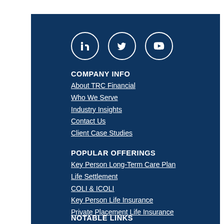[Figure (illustration): Social media icons: LinkedIn, Twitter, YouTube — white on dark navy circles]
COMPANY INFO
About TRC Financial
Who We Serve
Industry Insights
Contact Us
Client Case Studies
POPULAR OFFERINGS
Key Person Long-Term Care Plan
Life Settlement
COLI & ICOLI
Key Person Life Insurance
Private Placement Life Insurance
NOTABLE LINKS
Executive Income Protection